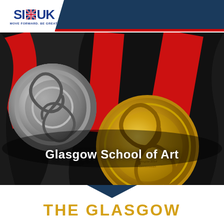[Figure (screenshot): SI-UK website header with logo, navigation bar showing phone number +62 822 6110 1114, language selector EN with UK flag, and Indonesian flag icon, plus hamburger menu]
[Figure (photo): Hero image of gold and silver medals with red ribbons on dark background]
Glasgow School of Art
THE GLASGOW